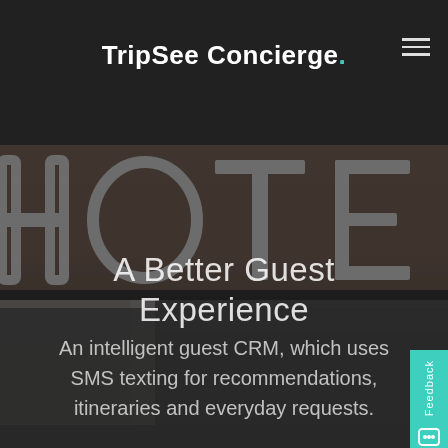[Figure (screenshot): TripSee Concierge website screenshot showing a hotel lobby background with large HOTEL letters, headline 'A Better Guest Experience', and bottom tagline text about guest CRM]
TripSee Concierge.
A Better Guest Experience
An intelligent guest CRM, which uses SMS texting for recommendations, itineraries and everyday requests.